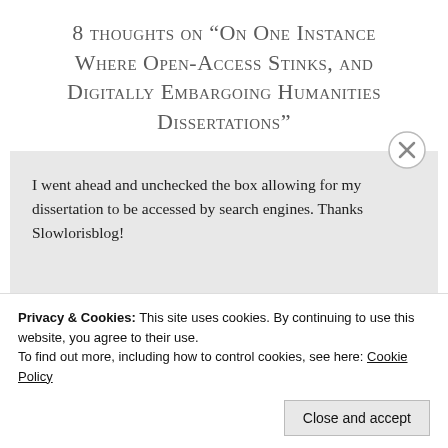8 thoughts on “On One Instance Where Open-Access Stinks, and Digitally Embargoing Humanities Dissertations”
I went ahead and unchecked the box allowing for my dissertation to be accessed by search engines. Thanks Slowlorisblog!
Reply
Privacy & Cookies: This site uses cookies. By continuing to use this website, you agree to their use.
To find out more, including how to control cookies, see here: Cookie Policy
Close and accept